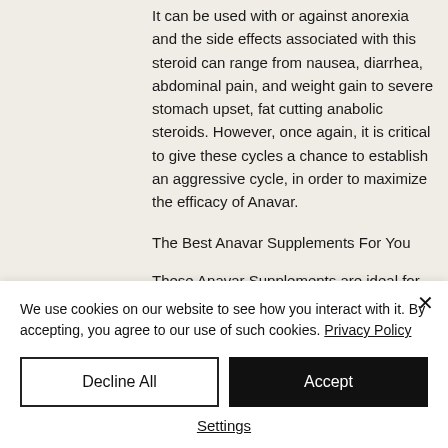It can be used with or against anorexia and the side effects associated with this steroid can range from nausea, diarrhea, abdominal pain, and weight gain to severe stomach upset, fat cutting anabolic steroids. However, once again, it is critical to give these cycles a chance to establish an aggressive cycle, in order to maximize the efficacy of Anavar.
The Best Anavar Supplements For You
These Anavar Supplements are ideal for anorexics and bodybuilders. You can find
We use cookies on our website to see how you interact with it. By accepting, you agree to our use of such cookies. Privacy Policy